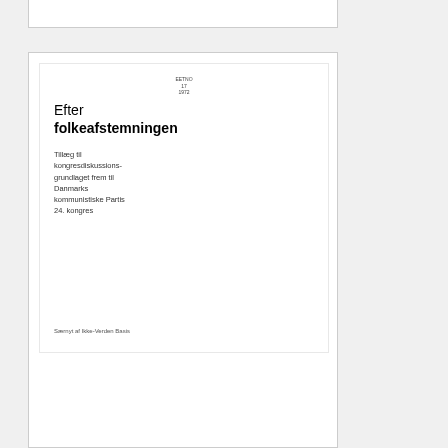[Figure (illustration): Book cover preview showing 'Efter folkeafstemningen' with subtitle text and stamp]
Efter folkeafstemningen : Tillæg til kongresdiskussionsgrundlaget frem til Danmarks kommunistiske Partis 24. kongres
Creator:
Danmarks Kommunistiske